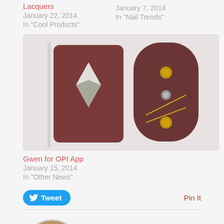Lacquers
January 22, 2014
In "Cool Products"
January 7, 2014
In "Nail Trends"
[Figure (photo): Two nail art designs showing metallic studs and geometric shapes on dark brown/maroon nail polish]
Gwen for OPI App
January 15, 2014
In "Other News"
Tweet
Pin It
Author: admin
[Figure (photo): Circular profile photo of a smiling Asian man]